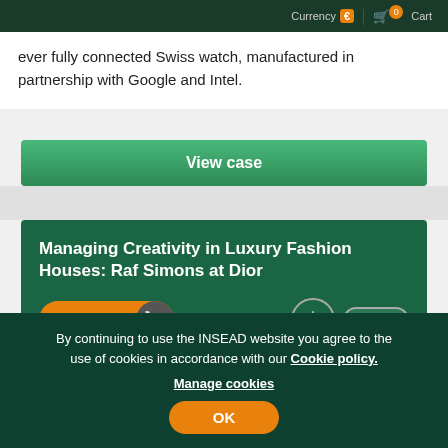Currency € | 0 Cart
ever fully connected Swiss watch, manufactured in partnership with Google and Intel.
View case
Managing Creativity in Luxury Fashion Houses: Raf Simons at Dior
Add to cart
By Frederic Godart, David
Topic Leadership & Organisations
By continuing to use the INSEAD website you agree to the use of cookies in accordance with our Cookie policy. Manage cookies
OK